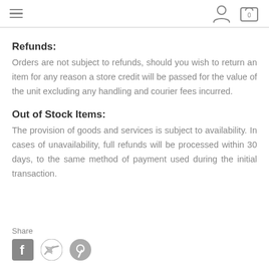navigation header with hamburger menu, user icon, and cart icon showing 0
Refunds:
Orders are not subject to refunds, should you wish to return an item for any reason a store credit will be passed for the value of the unit excluding any handling and courier fees incurred.
Out of Stock Items:
The provision of goods and services is subject to availability. In cases of unavailability, full refunds will be processed within 30 days, to the same method of payment used during the initial transaction.
Share